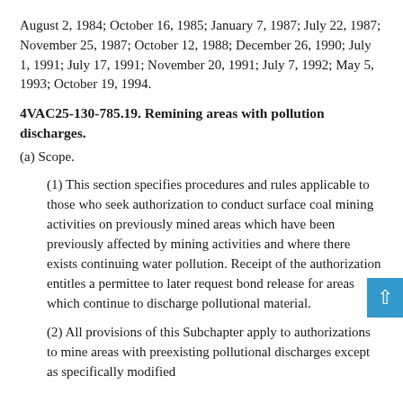August 2, 1984; October 16, 1985; January 7, 1987; July 22, 1987; November 25, 1987; October 12, 1988; December 26, 1990; July 1, 1991; July 17, 1991; November 20, 1991; July 7, 1992; May 5, 1993; October 19, 1994.
4VAC25-130-785.19. Remining areas with pollution discharges.
(a) Scope.
(1) This section specifies procedures and rules applicable to those who seek authorization to conduct surface coal mining activities on previously mined areas which have been previously affected by mining activities and where there exists continuing water pollution. Receipt of the authorization entitles a permittee to later request bond release for areas which continue to discharge pollutional material.
(2) All provisions of this Subchapter apply to authorizations to mine areas with preexisting pollutional discharges except as specifically modified